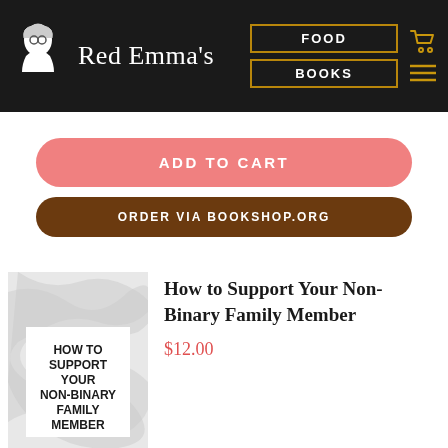Red Emma's | FOOD | BOOKS
ADD TO CART
ORDER VIA BOOKSHOP.ORG
[Figure (illustration): Book cover for 'How to Support Your Non-Binary Family Member' with marble texture background and bold black text]
How to Support Your Non-Binary Family Member
$12.00